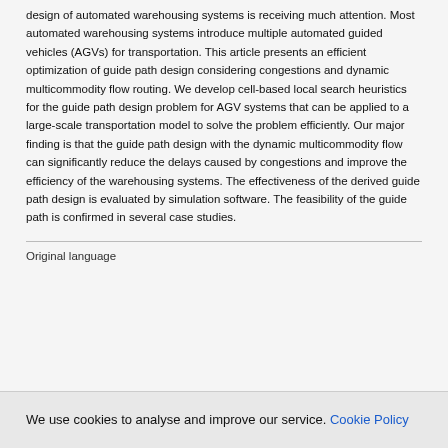design of automated warehousing systems is receiving much attention. Most automated warehousing systems introduce multiple automated guided vehicles (AGVs) for transportation. This article presents an efficient optimization of guide path design considering congestions and dynamic multicommodity flow routing. We develop cell-based local search heuristics for the guide path design problem for AGV systems that can be applied to a large-scale transportation model to solve the problem efficiently. Our major finding is that the guide path design with the dynamic multicommodity flow can significantly reduce the delays caused by congestions and improve the efficiency of the warehousing systems. The effectiveness of the derived guide path design is evaluated by simulation software. The feasibility of the guide path is confirmed in several case studies.
Original language
We use cookies to analyse and improve our service. Cookie Policy